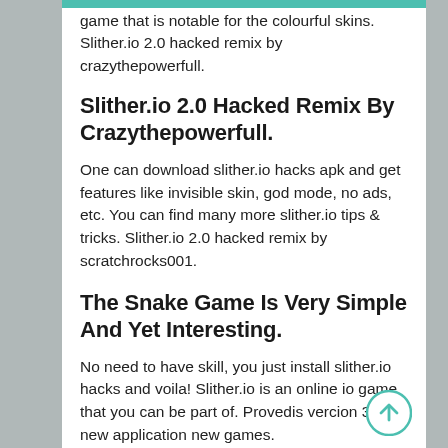game that is notable for the colourful skins. Slither.io 2.0 hacked remix by crazythepowerfull.
Slither.io 2.0 Hacked Remix By Crazythepowerfull.
One can download slither.io hacks apk and get features like invisible skin, god mode, no ads, etc. You can find many more slither.io tips & tricks. Slither.io 2.0 hacked remix by scratchrocks001.
The Snake Game Is Very Simple And Yet Interesting.
No need to have skill, you just install slither.io hacks and voila! Slither.io is an online io game that you can be part of. Provedis vercion 3.2.2 new application new games.